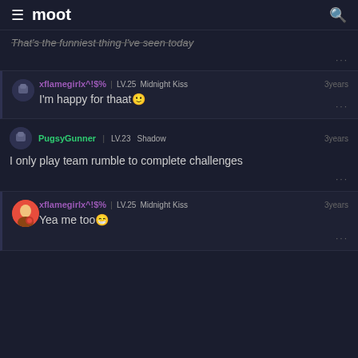moot
That's the funniest thing I've seen today
xflamegirlx^!$% | LV.25 Midnight Kiss — 3years — I'm happy for thaat🙂
PugsyGunner | LV.23 Shadow — 3years — I only play team rumble to complete challenges
xflamegirlx^!$% | LV.25 Midnight Kiss — 3years — Yea me too😁